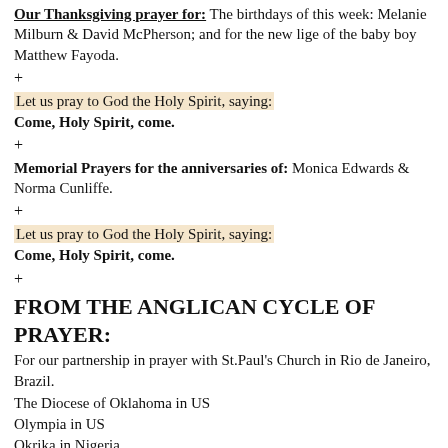Our Thanksgiving prayer for: The birthdays of this week: Melanie Milburn & David McPherson; and for the new lige of the baby boy Matthew Fayoda.
+
Let us pray to God the Holy Spirit, saying:
Come, Holy Spirit, come.
+
Memorial Prayers for the anniversaries of: Monica Edwards & Norma Cunliffe.
+
Let us pray to God the Holy Spirit, saying:
Come, Holy Spirit, come.
+
FROM THE ANGLICAN CYCLE OF PRAYER:
For our partnership in prayer with St.Paul's Church in Rio de Janeiro, Brazil.
The Diocese of Oklahoma in US
Olympia in US
Okrika in Nigeria
Oleh in Nigeria
Olo in Sudan
and for the Diocese of Omu-Aran in Nigeria.
+
Let us pray to God the Holy Spirit, saying:
Come, Holy Spirit, come.